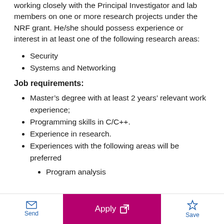working closely with the Principal Investigator and lab members on one or more research projects under the NRF grant. He/she should possess experience or interest in at least one of the following research areas:
Security
Systems and Networking
Job requirements:
Master’s degree with at least 2 years’ relevant work experience;
Programming skills in C/C++.
Experience in research.
Experiences with the following areas will be preferred
Program analysis
Send | Apply | Save